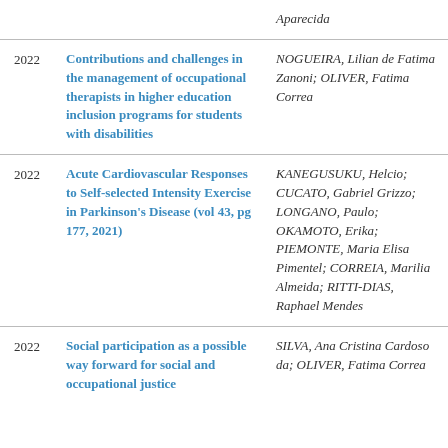| Year | Title | Authors |
| --- | --- | --- |
|  | Aparecida |  |
| 2022 | Contributions and challenges in the management of occupational therapists in higher education inclusion programs for students with disabilities | NOGUEIRA, Lilian de Fatima Zanoni; OLIVER, Fatima Correa |
| 2022 | Acute Cardiovascular Responses to Self-selected Intensity Exercise in Parkinson's Disease (vol 43, pg 177, 2021) | KANEGUSUKU, Helcio; CUCATO, Gabriel Grizzo; LONGANO, Paulo; OKAMOTO, Erika; PIEMONTE, Maria Elisa Pimentel; CORREIA, Marilia Almeida; RITTI-DIAS, Raphael Mendes |
| 2022 | Social participation as a possible way forward for social and occupational justice | SILVA, Ana Cristina Cardoso da; OLIVER, Fatima Correa |